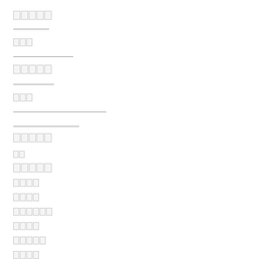[redacted blocks - 5 chars]
[underline bar]
[redacted blocks - 3 chars]
[underline bar]
[redacted blocks - 5 chars]
[underline bar]
[redacted blocks - 3 chars]
[underline bar long]
[underline bar medium]
[redacted blocks - 5 chars]
[redacted blocks - 2 chars]
[redacted blocks - 5 chars]
[redacted blocks - 4 chars]
[redacted blocks - 4 chars]
[redacted blocks - 6 chars]
[redacted blocks - 4 chars]
[redacted blocks - 5 chars]
[redacted blocks - 4 chars]